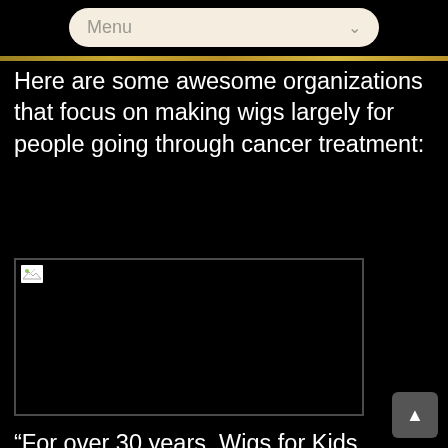Menu
Here are some awesome organizations that focus on making wigs largely for people going through cancer treatment:
[Figure (photo): Black rectangle image placeholder with broken image icon in upper left corner]
“For over 30 years, Wigs for Kids has been providing Hair Replacement Systems and support for children who have lost their hair due to